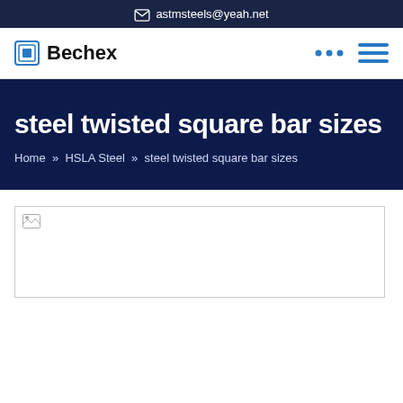✉ astmsteels@yeah.net
Bechex
steel twisted square bar sizes
Home » HSLA Steel » steel twisted square bar sizes
[Figure (photo): Broken image placeholder for steel twisted square bar sizes product image]